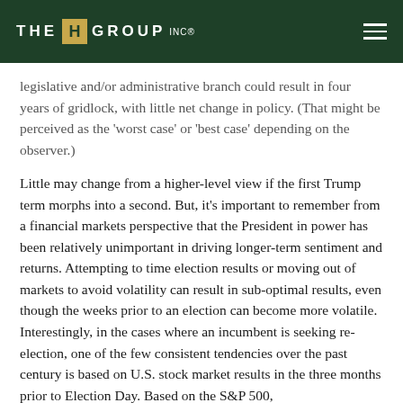THE H GROUP INC
legislative and/or administrative branch could result in four years of gridlock, with little net change in policy. (That might be perceived as the ‘worst case’ or ‘best case’ depending on the observer.)
Little may change from a higher-level view if the first Trump term morphs into a second. But, it’s important to remember from a financial markets perspective that the President in power has been relatively unimportant in driving longer-term sentiment and returns. Attempting to time election results or moving out of markets to avoid volatility can result in sub-optimal results, even though the weeks prior to an election can become more volatile. Interestingly, in the cases where an incumbent is seeking re-election, one of the few consistent tendencies over the past century is based on U.S. stock market results in the three months prior to Election Day. Based on the S&P 500,